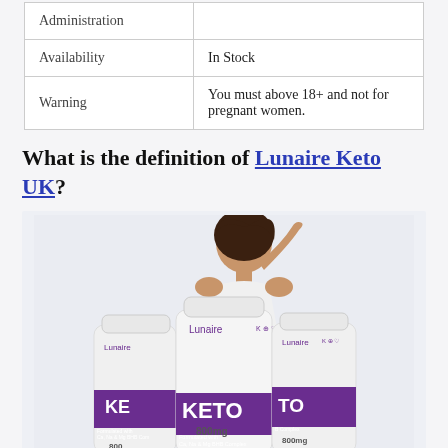|  |  |
| --- | --- |
| Administration |  |
| Availability | In Stock |
| Warning | You must above 18+ and not for pregnant women. |
What is the definition of Lunaire Keto UK?
[Figure (photo): Product photo showing three white bottles of Lunaire Keto supplement with purple labels reading KETO, 800mg, formulated with Ca, Na & Mg BHB Complex, with a smiling woman posing behind them.]